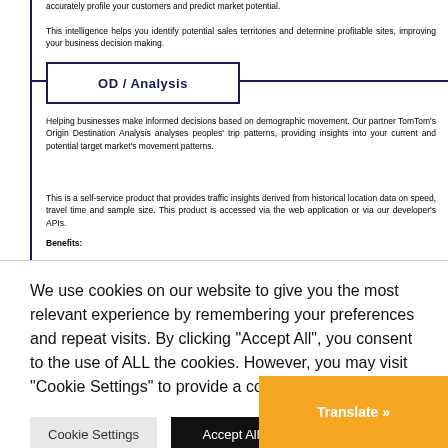accurately profile your customers and predict market potential.
This intelligence helps you identify potential sales territories and determine profitable sites, improving your business decision making.
OD / Analysis
Helping businesses make informed decisions based on demographic movement. Our partner TomTom's Origin Destination Analysis analyses peoples' trip patterns, providing insights into your current and potential target market's movement patterns.
This is a self-service product that provides traffic insights derived from historical location data on speed, travel time and sample size. This product is accessed via the web application or via our developer's APIs.
Benefits:
We use cookies on our website to give you the most relevant experience by remembering your preferences and repeat visits. By clicking "Accept All", you consent to the use of ALL the cookies. However, you may visit "Cookie Settings" to provide a controlled consent.